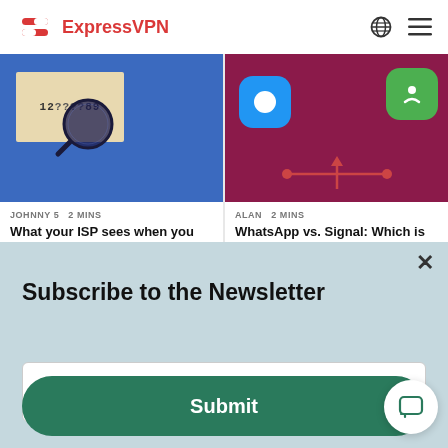ExpressVPN
[Figure (screenshot): Left article card: blue background with magnifying glass and number sequence image. Author: JOHNNY 5, 2 MINS. Title: What your ISP sees when you use VPN]
[Figure (screenshot): Right article card: dark pink/magenta background with chat app icons. Author: ALAN, 2 MINS. Title: WhatsApp vs. Signal: Which is more secure?]
Subscribe to the Newsletter
Email address
Submit